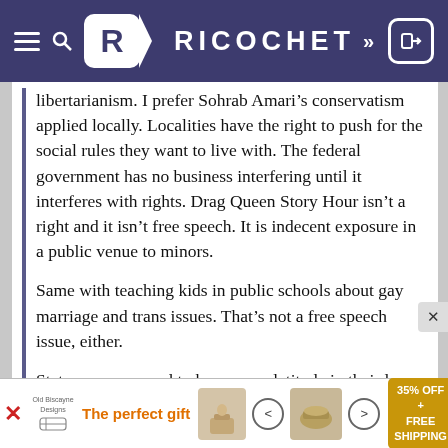RICOCHET
libertarianism. I prefer Sohrab Amari’s conservatism applied locally. Localities have the right to push for the social rules they want to live with. The federal government has no business interfering until it interferes with rights. Drag Queen Story Hour isn’t a right and it isn’t free speech. It is indecent exposure in a public venue to minors.
Same with teaching kids in public schools about gay marriage and trans issues. That’s not a free speech issue, either.
States are supposed to have more latitude in their laws. They are the laboratories of governing policy. NOT the federal government.
It appears to me that you have completely misunderstood both French’s and Amari’s positions. French is arguing against federal legislation banning
[Figure (other): Advertisement banner: The perfect gift - 35% OFF + FREE SHIPPING]